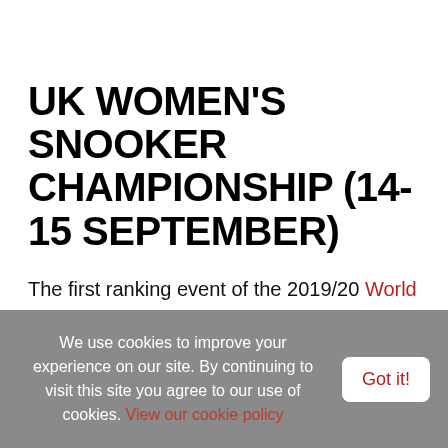UK WOMEN'S SNOOKER CHAMPIONSHIP (14-15 SEPTEMBER)
The first ranking event of the 2019/20 World Women's Snooker Tour takes place this month as the UK Women's Snooker Championship returns to the Northern Snooker Centre in Leeds.
We use cookies to improve your experience on our site. By continuing to visit this site you agree to our use of cookies. View our cookie policy